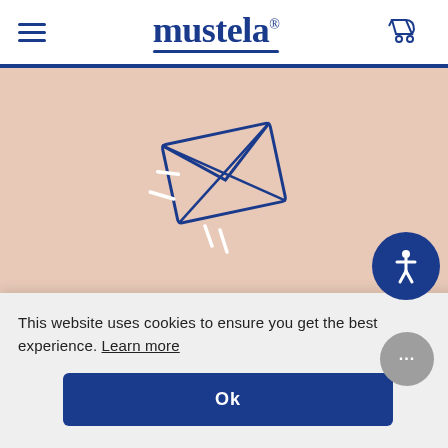Mustela
[Figure (illustration): Envelope icon tilted with motion lines suggesting movement, drawn in blue outline on a beige/pink background]
Get tips, news and exclusive
This website uses cookies to ensure you get the best experience. Learn more
Ok